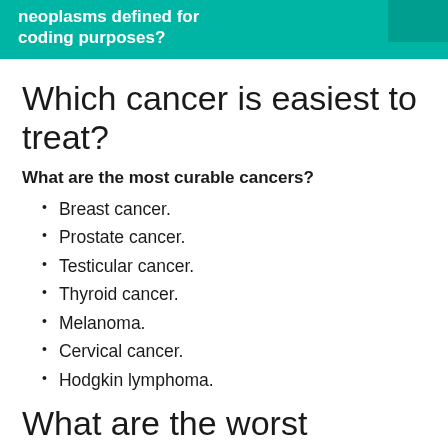neoplasms defined for coding purposes?
Which cancer is easiest to treat?
What are the most curable cancers?
Breast cancer.
Prostate cancer.
Testicular cancer.
Thyroid cancer.
Melanoma.
Cervical cancer.
Hodgkin lymphoma.
What are the worst cancers to have?